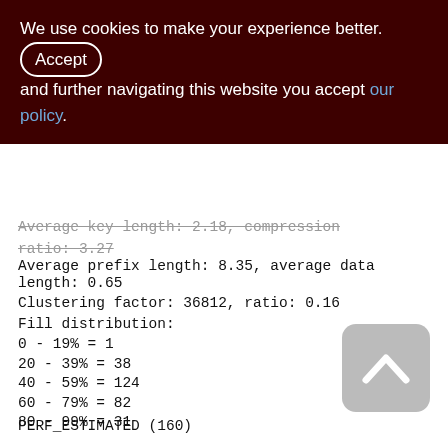We use cookies to make your experience better. By accepting and further navigating this website you accept our policy.
Average key length: 2.18, compression ratio: 3.27
Average prefix length: 8.35, average data length: 0.65
Clustering factor: 36812, ratio: 0.16
Fill distribution:
0 - 19% = 1
20 - 39% = 38
40 - 59% = 124
60 - 79% = 82
80 - 99% = 31
PERF_ESTIMATED (160)